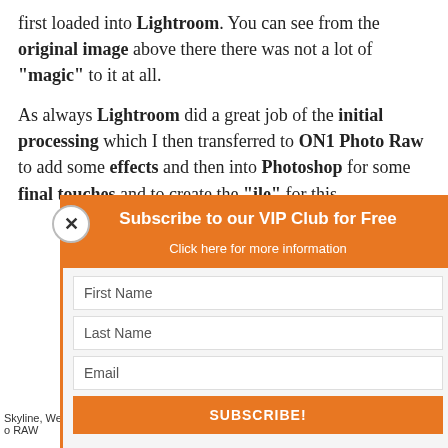first loaded into Lightroom. You can see from the original image above there there was not a lot of "magic" to it at all.
As always Lightroom did a great job of the initial processing which I then transferred to ON1 Photo Raw to add some effects and then into Photoshop for some final touches and to create the "file" for this
[Figure (screenshot): Screenshot of photo editing software showing a cityscape/skyline image of Western Australia being processed in ON1 Photo RAW]
Skyline, Western o RAW
[Figure (infographic): Popup modal overlay: Subscribe to our VIP Club for Free. Contains First Name, Last Name, Email fields and a SUBSCRIBE! button. Privacy note: We will never pass on your details to any third party. Has an X close button.]